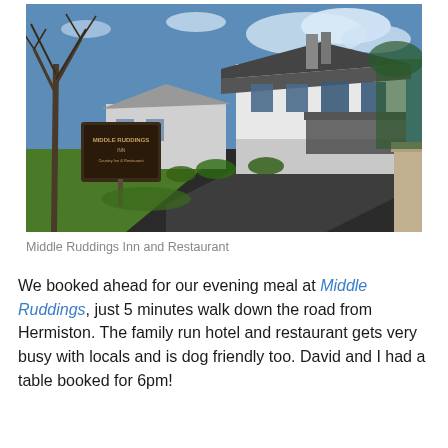[Figure (photo): Exterior photograph of Middle Ruddings Inn and Restaurant showing a stone building with a driveway, green lawn, bare trees, and blue sky]
Middle Ruddings Inn and Restaurant
We booked ahead for our evening meal at Middle Ruddings, just 5 minutes walk down the road from Hermiston. The family run hotel and restaurant gets very busy with locals and is dog friendly too. David and I had a table booked for 6pm!